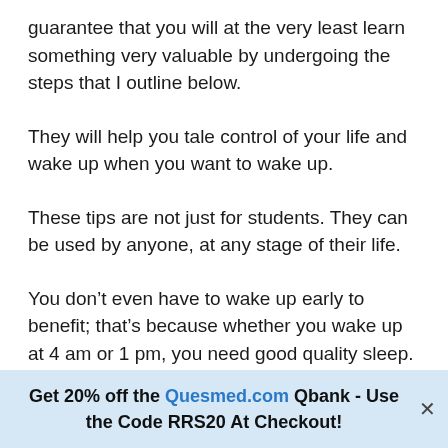guarantee that you will at the very least learn something very valuable by undergoing the steps that I outline below.
They will help you tale control of your life and wake up when you want to wake up.
These tips are not just for students. They can be used by anyone, at any stage of their life.
You don’t even have to wake up early to benefit; that’s because whether you wake up at 4 am or 1 pm, you need good quality sleep.
Get 20% off the Quesmed.com Qbank - Use the Code RRS20 At Checkout!